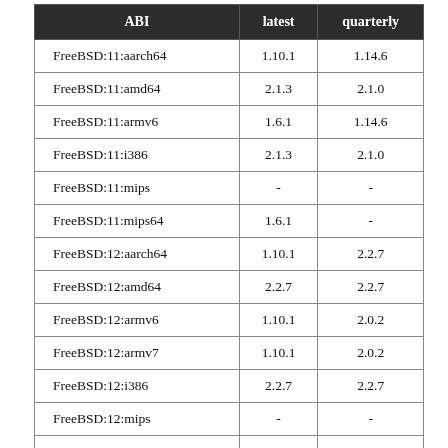| ABI | latest | quarterly |
| --- | --- | --- |
| FreeBSD:11:aarch64 | 1.10.1 | 1.14.6 |
| FreeBSD:11:amd64 | 2.1.3 | 2.1.0 |
| FreeBSD:11:armv6 | 1.6.1 | 1.14.6 |
| FreeBSD:11:i386 | 2.1.3 | 2.1.0 |
| FreeBSD:11:mips | - | - |
| FreeBSD:11:mips64 | 1.6.1 | - |
| FreeBSD:12:aarch64 | 1.10.1 | 2.2.7 |
| FreeBSD:12:amd64 | 2.2.7 | 2.2.7 |
| FreeBSD:12:armv6 | 1.10.1 | 2.0.2 |
| FreeBSD:12:armv7 | 1.10.1 | 2.0.2 |
| FreeBSD:12:i386 | 2.2.7 | 2.2.7 |
| FreeBSD:12:mips | - | - |
| FreeBSD:12:mips64 | - | - |